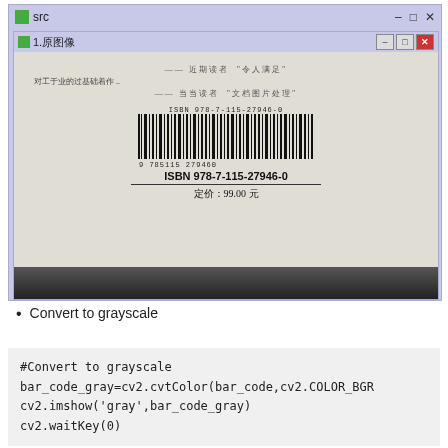[Figure (screenshot): A desktop application window titled 'src' containing an inner window titled '1.原图像' showing a photo of a book back cover with Chinese text, a barcode, ISBN 978-7-115-27946-0, and price 定价：99.00 元]
Convert to grayscale
#Convert to grayscale
bar_code_gray=cv2.cvtColor(bar_code,cv2.COLOR_BGR
cv2.imshow('gray',bar_code_gray)
cv2.waitKey(0)